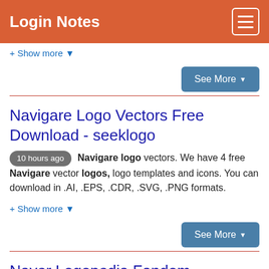Login Notes
+ Show more ▼
See More ▼
Navigare Logo Vectors Free Download - seeklogo
10 hours ago Navigare logo vectors. We have 4 free Navigare vector logos, logo templates and icons. You can download in .AI, .EPS, .CDR, .SVG, .PNG formats.
+ Show more ▼
See More ▼
Naver Logopedia Fandom
10 hours ago The name " Naver " was a mush of Nav igate and